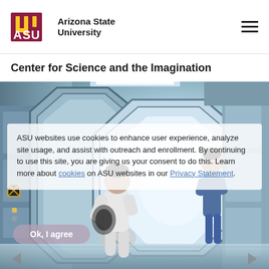[Figure (logo): Arizona State University logo with maroon ASU letters and gold sunburst mark, followed by bold text 'Arizona State University']
Center for Science and the Imagination
[Figure (photo): Sci-fi movie still showing a futuristic corridor with an octagonal airlock door. Two figures are visible: one in the foreground crouching in white clothes and one standing in a blue jumpsuit in the background. The corridor is white and light blue with industrial paneling.]
ASU websites use cookies to enhance user experience, analyze site usage, and assist with outreach and enrollment. By continuing to use this site, you are giving us your consent to do this. Learn more about cookies on ASU websites in our Privacy Statement.
Ok, I agree